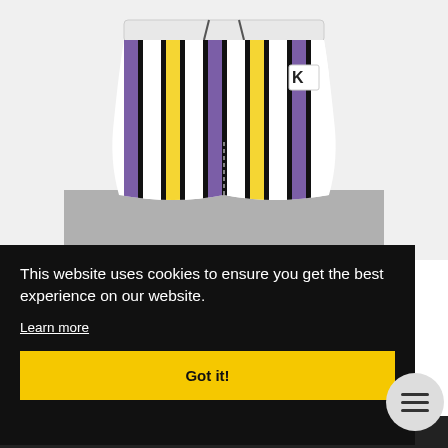[Figure (photo): Photo of purple, white, yellow and black striped swim shorts laid flat on a grey surface, with a logo patch on the right leg.]
a pair. I paddling d in the heading x.
This website uses cookies to ensure you get the best experience on our website.
Learn more
Got it!